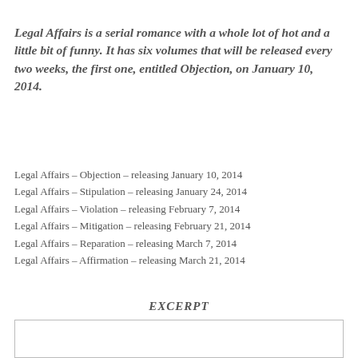Legal Affairs is a serial romance with a whole lot of hot and a little bit of funny. It has six volumes that will be released every two weeks, the first one, entitled Objection, on January 10, 2014.
Legal Affairs – Objection – releasing January 10, 2014
Legal Affairs – Stipulation – releasing January 24, 2014
Legal Affairs – Violation – releasing February 7, 2014
Legal Affairs – Mitigation – releasing February 21, 2014
Legal Affairs – Reparation – releasing March 7, 2014
Legal Affairs – Affirmation – releasing March 21, 2014
EXCERPT